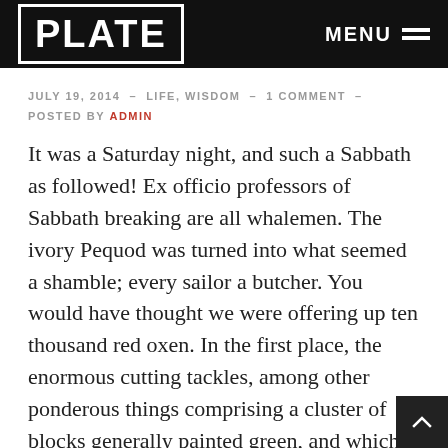PLATE  MENU
JULY 19, 2014  –  LIFE, WISDOM  –  1 COMMENT  –
POSTED BY ADMIN
It was a Saturday night, and such a Sabbath as followed! Ex officio professors of Sabbath breaking are all whalemen. The ivory Pequod was turned into what seemed a shamble; every sailor a butcher. You would have thought we were offering up ten thousand red oxen. In the first place, the enormous cutting tackles, among other ponderous things comprising a cluster of blocks generally painted green, and which no single…